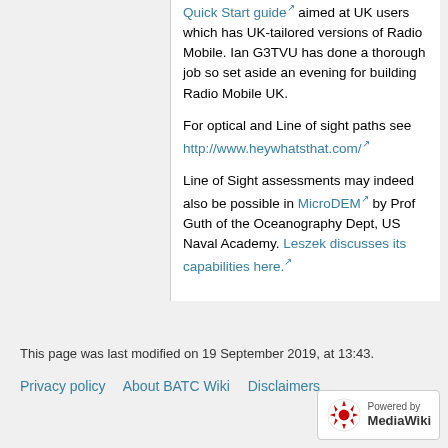Quick Start guide aimed at UK users which has UK-tailored versions of Radio Mobile. Ian G3TVU has done a thorough job so set aside an evening for building Radio Mobile UK.
For optical and Line of sight paths see http://www.heywhatsthat.com/
Line of Sight assessments may indeed also be possible in MicroDEM by Prof Guth of the Oceanography Dept, US Naval Academy. Leszek discusses its capabilities here.
This page was last modified on 19 September 2019, at 13:43.
Privacy policy   About BATC Wiki   Disclaimers